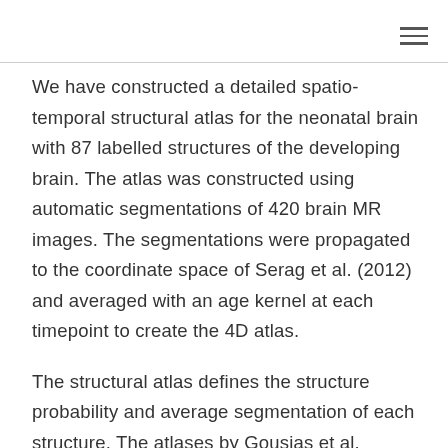☰
We have constructed a detailed spatio-temporal structural atlas for the neonatal brain with 87 labelled structures of the developing brain. The atlas was constructed using automatic segmentations of 420 brain MR images. The segmentations were propagated to the coordinate space of Serag et al. (2012) and averaged with an age kernel at each timepoint to create the 4D atlas.
The structural atlas defines the structure probability and average segmentation of each structure. The atlases by Gousias et al. (ALBERTs) were used as prior knowledge for the segmentation and were further augmented to provide differentiation between gray and white matter.